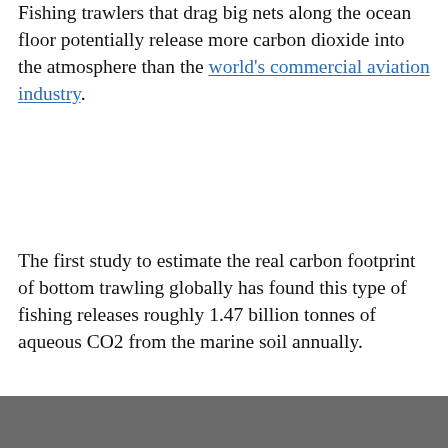Fishing trawlers that drag big nets along the ocean floor potentially release more carbon dioxide into the atmosphere than the world's commercial aviation industry.
The first study to estimate the real carbon footprint of bottom trawling globally has found this type of fishing releases roughly 1.47 billion tonnes of aqueous CO2 from the marine soil annually.